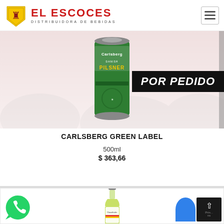[Figure (logo): El Escoces Distribuidora de Bebidas logo with shield and brand name]
[Figure (photo): Carlsberg Green Label Danish Pilsner 500ml can with POR PEDIDO banner]
CARLSBERG GREEN LABEL
500ml
$ 363,66
[Figure (photo): Clausthaler beer bottle partially visible at bottom of page]
[Figure (illustration): WhatsApp floating button (green phone icon)]